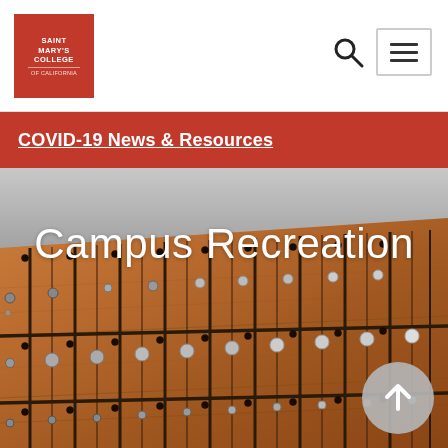[Figure (logo): Saint Mary's College of California logo — red box with white text]
[Figure (other): Search icon (magnifying glass) in navigation bar]
[Figure (other): Hamburger menu icon (three horizontal lines) in a bordered box in navigation bar]
COVID-19 News & Resources
Campus Recreation
[Figure (photo): Hero image of wooden lockers with metal handles and black dividing lines, viewed at an angle, with 'Campus Recreation' overlaid in white text]
[Figure (other): Scroll-to-top button: grey circle with white upward arrow]